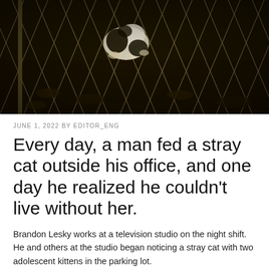[Figure (photo): A dark nighttime photo of a black and white cat seen through a chain-link fence, surrounded by dry leaves and grass.]
JUNE 1, 2022 BY EDITOR_ENG
Every day, a man fed a stray cat outside his office, and one day he realized he couldn't live without her.
Brandon Lesky works at a television studio on the night shift. He and others at the studio began noticing a stray cat with two adolescent kittens in the parking lot.